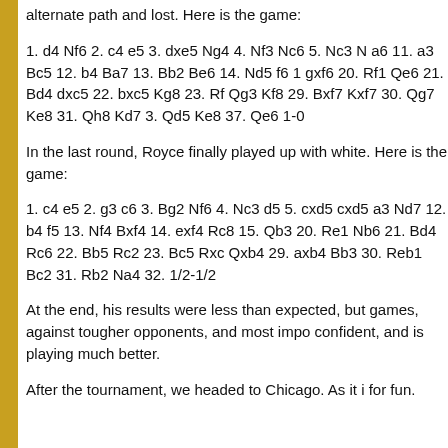alternate path and lost. Here is the game:
1. d4 Nf6 2. c4 e5 3. dxe5 Ng4 4. Nf3 Nc6 5. Nc3 N a6 11. a3 Bc5 12. b4 Ba7 13. Bb2 Be6 14. Nd5 f6 1 gxf6 20. Rf1 Qe6 21. Bd4 dxc5 22. bxc5 Kg8 23. Rf Qg3 Kf8 29. Bxf7 Kxf7 30. Qg7 Ke8 31. Qh8 Kd7 3. Qd5 Ke8 37. Qe6 1-0
In the last round, Royce finally played up with white. Here is the game:
1. c4 e5 2. g3 c6 3. Bg2 Nf6 4. Nc3 d5 5. cxd5 cxd5 a3 Nd7 12. b4 f5 13. Nf4 Bxf4 14. exf4 Rc8 15. Qb3 20. Re1 Nb6 21. Bd4 Rc6 22. Bb5 Rc2 23. Bc5 Rxc Qxb4 29. axb4 Bb3 30. Reb1 Bc2 31. Rb2 Na4 32. 1/2-1/2
At the end, his results were less than expected, but games, against tougher opponents, and most impo confident, and is playing much better.
After the tournament, we headed to Chicago. As it i for fun.